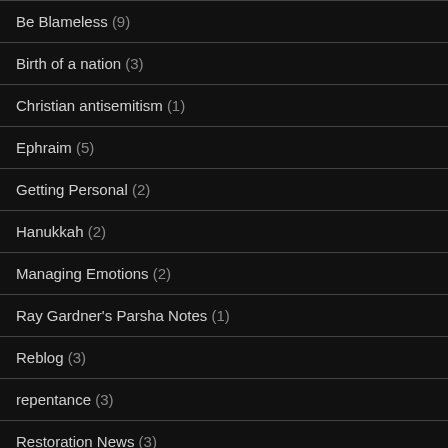Be Blameless (9)
Birth of a nation (3)
Christian antisemitism (1)
Ephraim (5)
Getting Personal (2)
Hanukkah (2)
Managing Emotions (2)
Ray Gardner's Parsha Notes (1)
Reblog (3)
repentance (3)
Restoration News (3)
Sabbath (1)